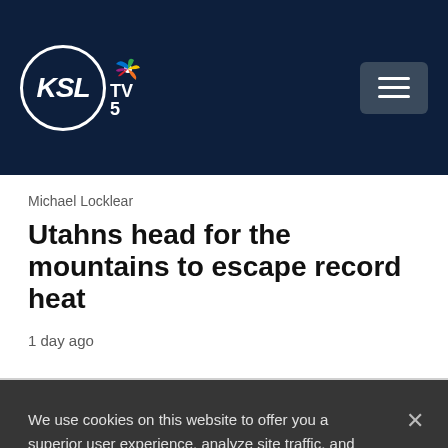KSL TV 5 – NBC
Michael Locklear
Utahns head for the mountains to escape record heat
1 day ago
We use cookies on this website to offer you a superior user experience, analyze site traffic, and personalize content and advertisements. By continuing to use our site, you consent to our use of cookies. Please visit our Privacy Policy for more information.
Accept Cookies